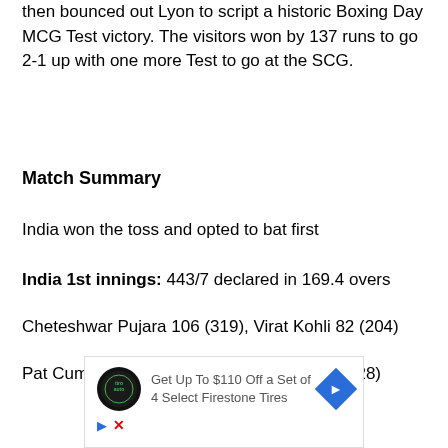then bounced out Lyon to script a historic Boxing Day MCG Test victory. The visitors won by 137 runs to go 2-1 up with one more Test to go at the SCG.
Match Summary
India won the toss and opted to bat first
India 1st innings: 443/7 declared in 169.4 overs
Cheteshwar Pujara 106 (319), Virat Kohli 82 (204)
Pat Cummins 72/3 (34), Mitchell Starc 87/2 (28)
[Figure (other): Advertisement banner: Get Up To $110 Off a Set of 4 Select Firestone Tires with Tiro Auto logo and navigation arrow icon]